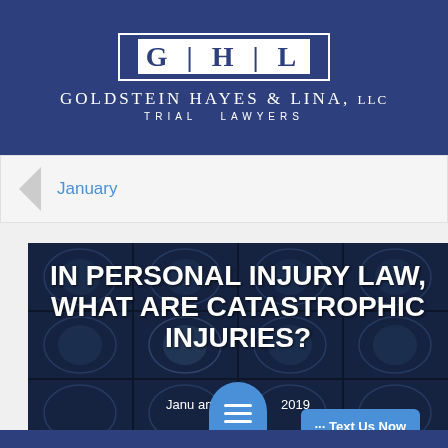[Figure (logo): Goldstein Hayes & Lina LLC law firm logo with GHL letters in white box on dark blue banner, firm name and Trial Lawyers subtitle]
January
[Figure (photo): MRI brain scan images in dark blue overlay with white bold text reading: IN PERSONAL INJURY LAW, WHAT ARE CATASTROPHIC INJURIES? and date January 2019]